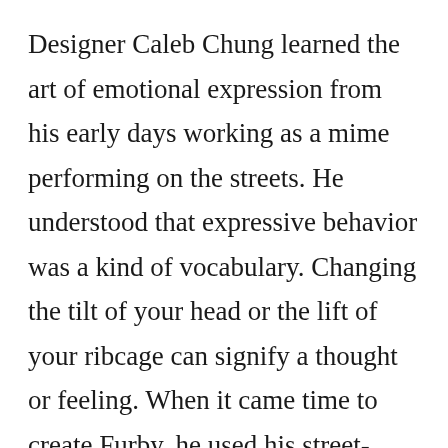Designer Caleb Chung learned the art of emotional expression from his early days working as a mime performing on the streets. He understood that expressive behavior was a kind of vocabulary. Changing the tilt of your head or the lift of your ribcage can signify a thought or feeling. When it came time to create Furby, he used his street-performer’s insights to determine how Furby would move its eyes and ears.

Take a look at the photo of Furby, and notice